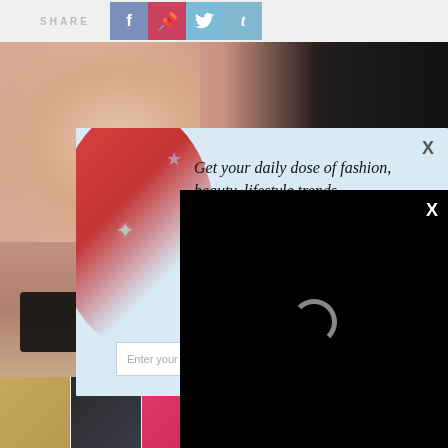SHARE
[Figure (screenshot): Social share buttons: Facebook (blue-gray), Pinterest (red), Twitter (light blue), Tumblr (light blue)]
[Figure (photo): Close-up photo of an Asian woman with dark makeup, black hair, and crystal earrings]
[Figure (screenshot): Newsletter signup popup overlay with text 'Get your daily dose of fashion, beauty, lifestyle trends' and email input field with STYLE brand text, star decorations, red circle decoration on left, and X close button]
[Figure (screenshot): Black video loading overlay with a spinning loading indicator (C shape) and X close button in top right]
[Figure (screenshot): Bottom thumbnail strip showing 6 fashion thumbnails: sequined gold shorts, black two-piece outfit, pink bodysuit, white sleeveless outfit, black skirt outfit, black mini dress outfit]
[Figure (logo): Advertisement area with play icon, X button, and 'po' logo text in orange/coral color]